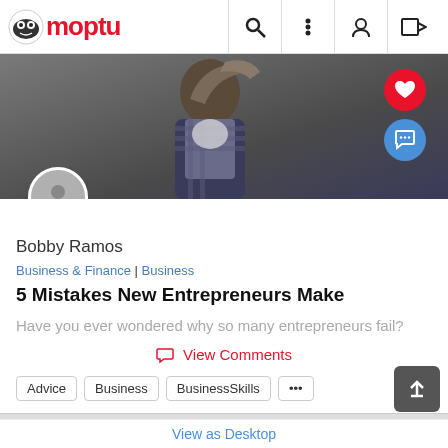Moptu
[Figure (photo): Man covering his face with his hand, wearing a plaid shirt, dark background]
Bobby Ramos
Business & Finance | Business
5 Mistakes New Entrepreneurs Make
Have you ever wondered why so many entrepreneurs fail?
View Comments
Advice
Business
BusinessSkills
View as Desktop